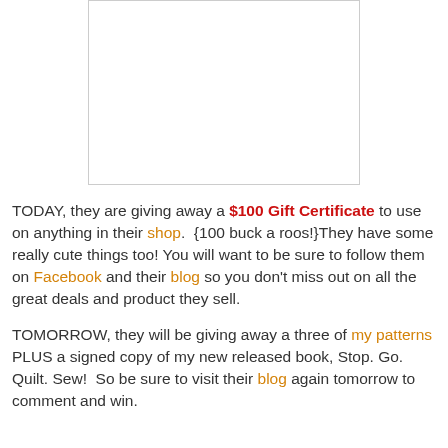[Figure (other): Blank white image placeholder with light gray border]
TODAY, they are giving away a $100 Gift Certificate to use on anything in their shop.  {100 buck a roos!}They have some really cute things too! You will want to be sure to follow them on Facebook and their blog so you don't miss out on all the great deals and product they sell.
TOMORROW, they will be giving away a three of my patterns PLUS a signed copy of my new released book, Stop. Go. Quilt. Sew!  So be sure to visit their blog again tomorrow to comment and win.